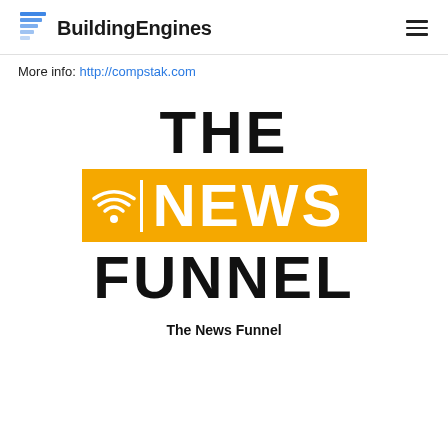BuildingEngines
More info: http://compstak.com
[Figure (logo): The News Funnel logo: large bold text 'THE' on top, middle row with orange/yellow background showing wifi signal icon and 'NEWS' in white bold text, then 'FUNNEL' in bold black text below]
The News Funnel